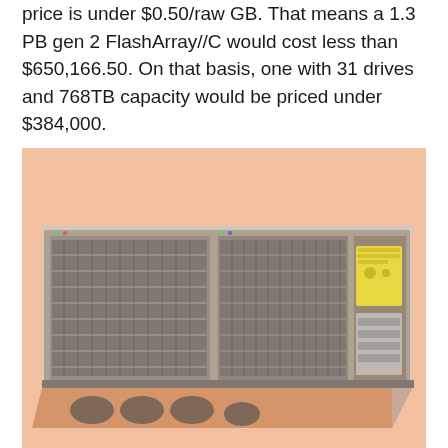price is under $0.50/raw GB. That means a 1.3 PB gen 2 FlashArray//C would cost less than $650,166.50. On that basis, one with 31 drives and 768TB capacity would be priced under $384,000.
[Figure (photo): A FlashArray//C storage appliance rack unit shown at an angle, with a warm orange/salmon background. The unit is a 2U rack-mounted storage array with multiple drive bays, panels, and control modules visible. A yellow label is visible on the right side.]